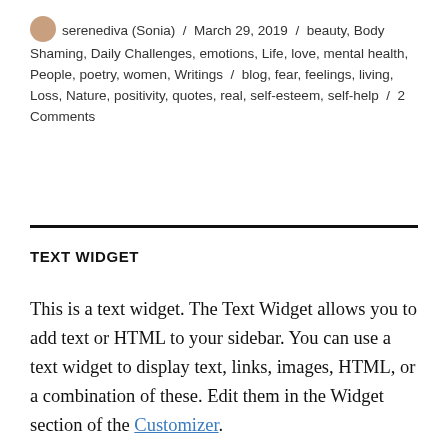serenediva (Sonia) / March 29, 2019 / beauty, Body Shaming, Daily Challenges, emotions, Life, love, mental health, People, poetry, women, Writings / blog, fear, feelings, living, Loss, Nature, positivity, quotes, real, self-esteem, self-help / 2 Comments
TEXT WIDGET
This is a text widget. The Text Widget allows you to add text or HTML to your sidebar. You can use a text widget to display text, links, images, HTML, or a combination of these. Edit them in the Widget section of the Customizer.